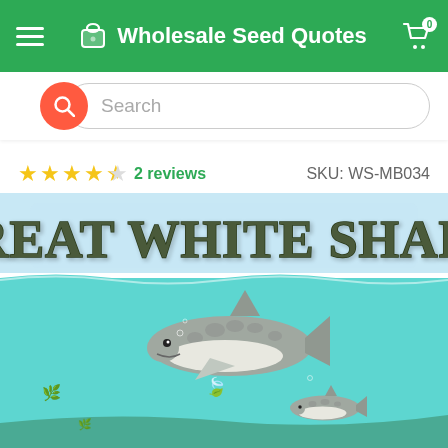Wholesale Seed Quotes
Search
★★★★½  2 reviews    SKU: WS-MB034
[Figure (illustration): Product page image for 'Great White Shark' cannabis seeds. Shows a stylized underwater illustration with text 'GREAT WHITE SHARK' in large decorative letters at the top, and cartoon great white sharks swimming in a light blue water scene with cannabis leaf motifs on the ocean floor.]